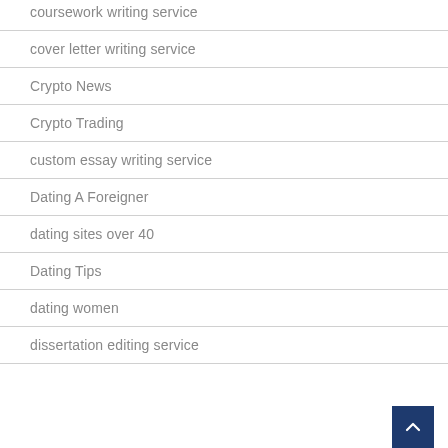coursework writing service
cover letter writing service
Crypto News
Crypto Trading
custom essay writing service
Dating A Foreigner
dating sites over 40
Dating Tips
dating women
dissertation editing service